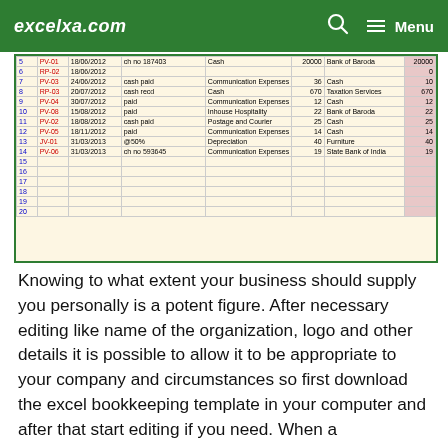excelxa.com  Menu
[Figure (screenshot): Excel bookkeeping spreadsheet screenshot showing rows of journal entries with columns for voucher number, date, narration, account head, debit amount, credit account, and credit amount. Rows include entries like CV-01, RP-02, PV-03, RP-03, PV-04, PV-08, PV-02, PV-05, JV-01, PV-06 with dates in 2012-2013, and various expense categories.]
Knowing to what extent your business should supply you personally is a potent figure. After necessary editing like name of the organization, logo and other details it is possible to allow it to be appropriate to your company and circumstances so first download the excel bookkeeping template in your computer and after that start editing if you need. When a